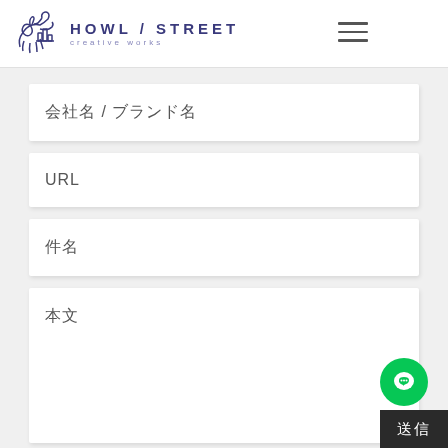HOWL / STREET creative works
会社名 / ブランド名
URL
件名
本文
送信